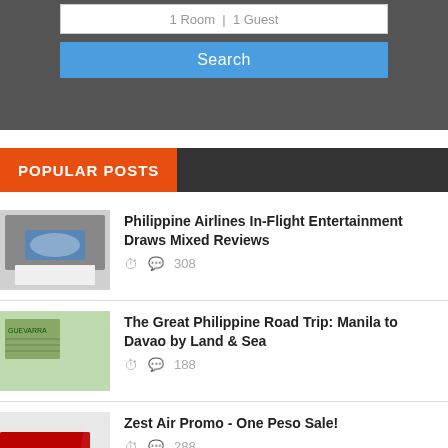1 Room 1 Guest
Search
POPULAR POSTS
Philippine Airlines In-Flight Entertainment Draws Mixed Reviews
308
The Great Philippine Road Trip: Manila to Davao by Land & Sea
188
Zest Air Promo - One Peso Sale!
288
Philippine Airlines Introducing New Budget Fares, Reduces Baggage Fees
244